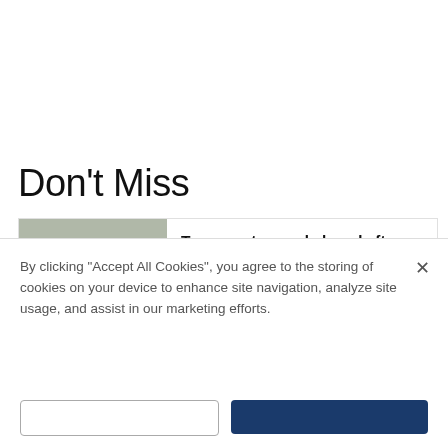Don't Miss
[Figure (photo): News article card showing a flooded town centre road with cars driving through water, with a Range Rover and a blue car visible]
Town centre road closed after becoming flooded in torrential rain
JOHNNY AMOS
By clicking "Accept All Cookies", you agree to the storing of cookies on your device to enhance site navigation, analyze site usage, and assist in our marketing efforts.